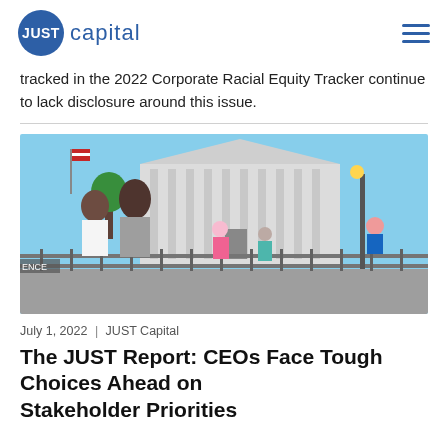JUST capital
tracked in the 2022 Corporate Racial Equity Tracker continue to lack disclosure around this issue.
[Figure (photo): People standing in front of the U.S. Supreme Court building, separated by metal barricades, on a sunny day. Two women face the building from behind, with children and a cyclist visible in the background.]
July 1, 2022 | JUST Capital
The JUST Report: CEOs Face Tough Choices Ahead on Stakeholder Priorities